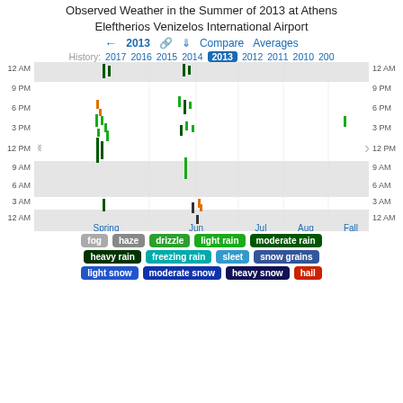Observed Weather in the Summer of 2013 at Athens Eleftherios Venizelos International Airport
[Figure (other): Navigation row with year arrows, link, download, Compare, Averages buttons and history year links (2017 2016 2015 2014 2013[active] 2012 2011 2010 200...)]
[Figure (continuous-plot): Weather event timeline chart showing precipitation events (fog, drizzle, light rain, moderate rain, heavy rain, freezing rain) plotted by time of day (12AM to 12AM) across months Spring through Fall. Gray shaded bands for nighttime. Colored vertical marks for weather events mostly in Spring and Jun. X-axis: Spring, Jun, Jul, Aug, Fall. Y-axis: 12AM, 3AM, 6AM, 9AM, 12PM, 3PM, 6PM, 9PM, 12AM.]
fog  haze  drizzle  light rain  moderate rain  heavy rain  freezing rain  sleet  snow grains  light snow  moderate snow  heavy snow  hail